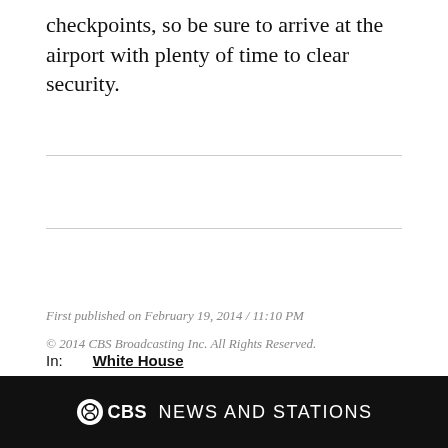checkpoints, so be sure to arrive at the airport with plenty of time to clear security.
In:   White House
First published on February 19, 2014 / 11:10 PM
© 2014 CBS Broadcasting Inc. All Rights Reserved.
CBS NEWS AND STATIONS